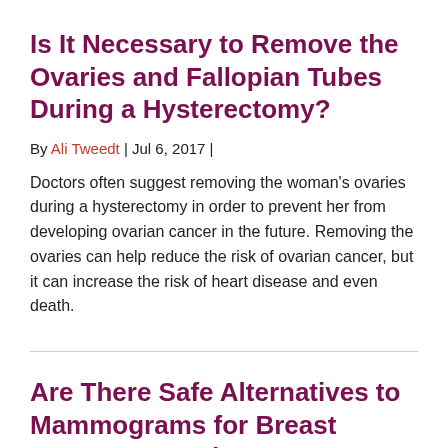Is It Necessary to Remove the Ovaries and Fallopian Tubes During a Hysterectomy?
By Ali Tweedt  |  Jul 6, 2017  |
Doctors often suggest removing the woman's ovaries during a hysterectomy in order to prevent her from developing ovarian cancer in the future. Removing the ovaries can help reduce the risk of ovarian cancer, but it can increase the risk of heart disease and even death.
Are There Safe Alternatives to Mammograms for Breast Cancer Screening?